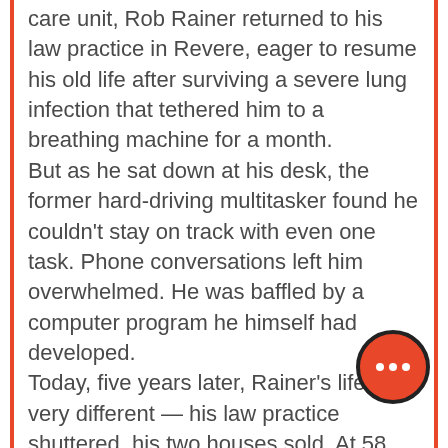care unit, Rob Rainer returned to his law practice in Revere, eager to resume his old life after surviving a severe lung infection that tethered him to a breathing machine for a month. But as he sat down at his desk, the former hard-driving multitasker found he couldn't stay on track with even one task. Phone conversations left him overwhelmed. He was baffled by a computer program he himself had developed. Today, five years later, Rainer's life is very different — his law practice shuttered, his two houses sold. At 58, he lives modestly with his wife in a small condo in Hudson, N.H. While the novel coronavirus didn't exist in 2015, today thousands of COVID patients in the United States are enduring the same experience that
[Figure (other): Orange circular button with three white dots (more options / menu button) positioned in the bottom right area of the page]